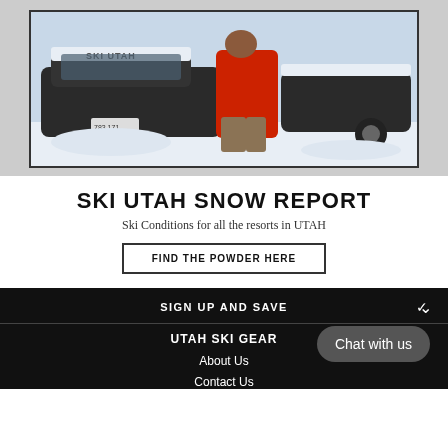[Figure (photo): Person in red jacket brushing snow off a car in a snowy parking lot. Snow is piled on the car roof where 'SKI UTAH' is written. License plate partially visible.]
SKI UTAH SNOW REPORT
Ski Conditions for all the resorts in UTAH
FIND THE POWDER HERE
SIGN UP AND SAVE
UTAH SKI GEAR
About Us
Contact Us
Chat with us